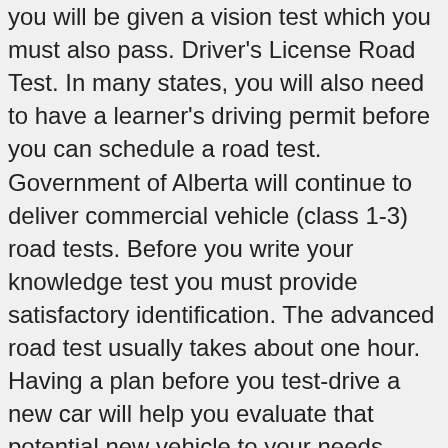you will be given a vision test which you must also pass. Driver's License Road Test. In many states, you will also need to have a learner's driving permit before you can schedule a road test. Government of Alberta will continue to deliver commercial vehicle (class 1-3) road tests. Before you write your knowledge test you must provide satisfactory identification. The advanced road test usually takes about one hour. Having a plan before you test-drive a new car will help you evaluate that potential new vehicle to your needs wisely. Minors will need to be accompanied by a parent or guardian at this time. Also, our staff are authorized to conduct oral tests as a substitute. Contact the registry agent for confirmation of testing they provide. T2L 1V9 If you are under 18 years of age you must have your parent or guardian accompany you to our office with their own identification to sign a Parental Consent Form. Book a reservation for your road test with Alberta's road test listing website. As of the time of this post, it is